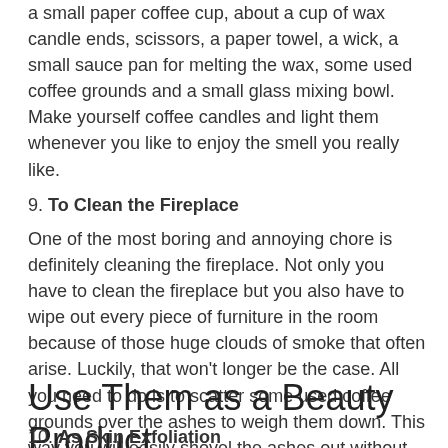a small paper coffee cup, about a cup of wax candle ends, scissors, a paper towel, a wick, a small sauce pan for melting the wax, some used coffee grounds and a small glass mixing bowl. Make yourself coffee candles and light them whenever you like to enjoy the smell you really like.
9. To Clean the Fireplace
One of the most boring and annoying chore is definitely cleaning the fireplace. Not only you have to clean the fireplace but you also have to wipe out every piece of furniture in the room because of those huge clouds of smoke that often arise. Luckily, that won't longer be the case. All you need to do is to scatter some used coffee grounds over the ashes to weigh them down. This way you will easily shovel the ashes out without having to clean everything else when you are done.
Use Them as a Beauty Product
10. As Skin Exfoliation